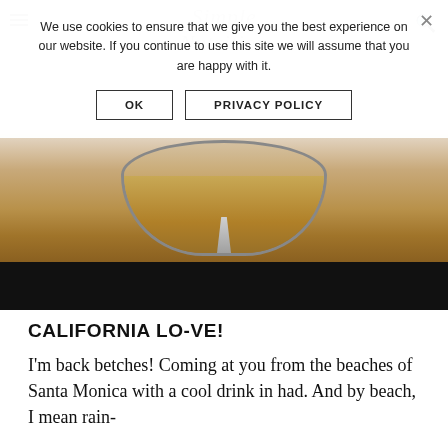We use cookies to ensure that we give you the best experience on our website. If you continue to use this site we will assume that you are happy with it.
[Figure (screenshot): Cookie consent dialog with OK and PRIVACY POLICY buttons over a blender/food photo from a nutrition blog called Simple Nutrition]
CALIFORNIA LO-VE!
I'm back betches! Coming at you from the beaches of Santa Monica with a cool drink in had. And by beach, I mean rain-